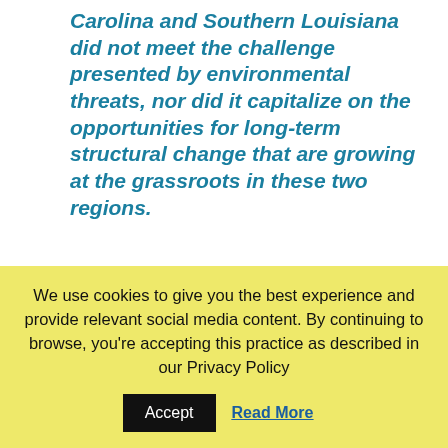Carolina and Southern Louisiana did not meet the challenge presented by environmental threats, nor did it capitalize on the opportunities for long-term structural change that are growing at the grassroots in these two regions.
Just 26 percent of funding in Eastern North Carolina was designated for marginalized communities between 2010 and 2014
43 percent of funding in Southern Louisiana was designated for marginalized communities between 2010 and 2014
We use cookies to give you the best experience and provide relevant social media content. By continuing to browse, you're accepting this practice as described in our Privacy Policy
Accept
Read More